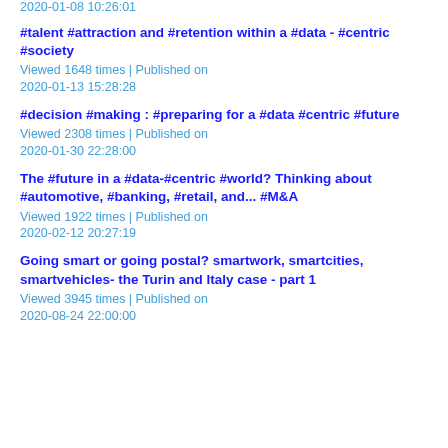2020-01-08 10:26:01
#talent #attraction and #retention within a #data - #centric #society
Viewed 1648 times | Published on 2020-01-13 15:28:28
#decision #making : #preparing for a #data #centric #future
Viewed 2308 times | Published on 2020-01-30 22:28:00
The #future in a #data-#centric #world? Thinking about #automotive, #banking, #retail, and... #M&A
Viewed 1922 times | Published on 2020-02-12 20:27:19
Going smart or going postal? smartwork, smartcities, smartvehicles- the Turin and Italy case - part 1
Viewed 3945 times | Published on 2020-08-24 22:00:00